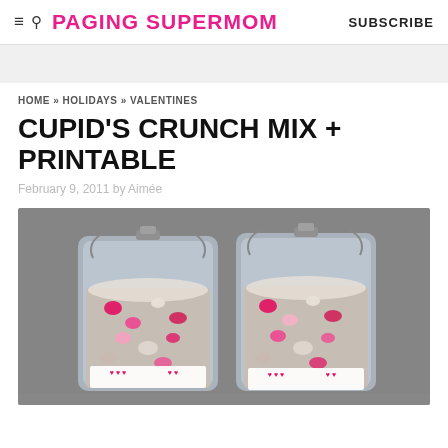≡ 🔍 PAGING SUPERMOM   SUBSCRIBE
HOME » HOLIDAYS » VALENTINES
CUPID'S CRUNCH MIX + PRINTABLE
February 9, 2011 by Aimée
[Figure (photo): Two glass clip-top jars filled with Cupid's Crunch Mix — a powdered sugar coated snack mix with pink and red Valentine's Day candies — sitting on a grey fabric surface. Each jar has a decorative Valentine's label with hearts attached.]